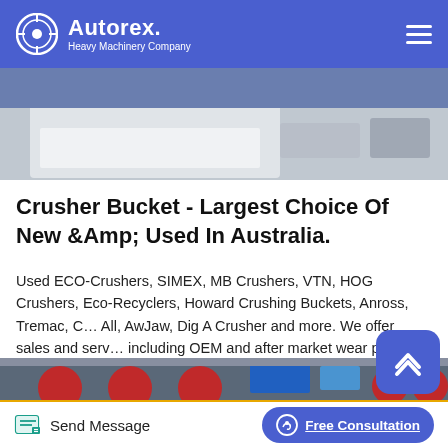Autorex Heavy Machinery Company
[Figure (photo): Partial view of heavy machinery equipment, white-colored component visible against a concrete floor background]
Crusher Bucket - Largest Choice Of New &Amp; Used In Australia.
Used ECO-Crushers, SIMEX, MB Crushers, VTN, HOG Crushers, Eco-Recyclers, Howard Crushing Buckets, Anross, Tremac, C… All, AwJaw, Dig A Crusher and more. We offer sales and serv… including OEM and after market wear parts. We also have a complete lineup of NEW makes and models. Click here for more info. Contact Us.Excavator Mounted Jaw Crushers Excavator…
[Figure (photo): Heavy machinery crusher equipment in a factory/warehouse setting with red and blue components visible]
Send Message | Free Consultation